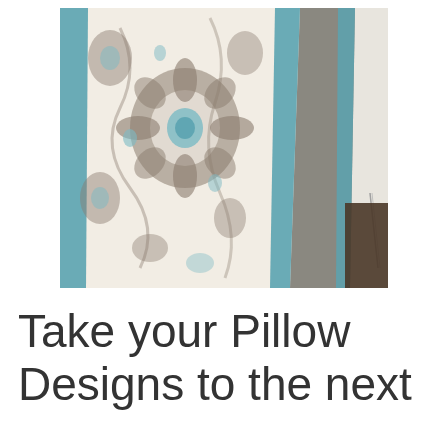[Figure (photo): Close-up photo of decorative pillows stacked together. The front pillow has a white background with taupe/gray floral and medallion pattern with teal/turquoise accents and a teal velvet border trim. Behind it is a plain taupe/gray linen pillow also with a teal border trim. A white pillow with a zipper is partially visible on the right side.]
Take your Pillow Designs to the next